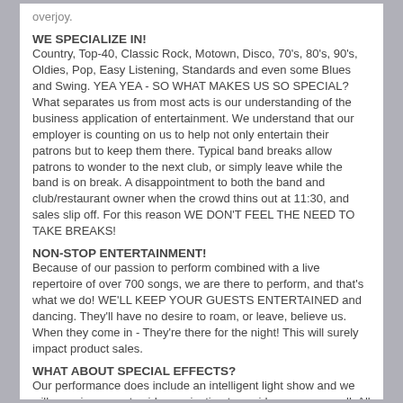overjoy.
WE SPECIALIZE IN!
Country, Top-40, Classic Rock, Motown, Disco, 70's, 80's, 90's, Oldies, Pop, Easy Listening, Standards and even some Blues and Swing. YEA YEA - SO WHAT MAKES US SO SPECIAL?
What separates us from most acts is our understanding of the business application of entertainment. We understand that our employer is counting on us to help not only entertain their patrons but to keep them there. Typical band breaks allow patrons to wonder to the next club, or simply leave while the band is on break. A disappointment to both the band and club/restaurant owner when the crowd thins out at 11:30, and sales slip off. For this reason WE DON'T FEEL THE NEED TO TAKE BREAKS!
NON-STOP ENTERTAINMENT!
Because of our passion to perform combined with a live repertoire of over 700 songs, we are there to perform, and that's what we do! WE'LL KEEP YOUR GUESTS ENTERTAINED and dancing. They'll have no desire to roam, or leave, believe us. When they come in - They're there for the night! This will surely impact product sales.
WHAT ABOUT SPECIAL EFFECTS?
Our performance does include an intelligent light show and we will soon incorporate video projection to a wide screen as well. All lights are LED style and do not require a large consumption of power to operate, which reduces the cost of operation and heat distribution significantly.
HOW LARGE IS THE BAND?
Because the core of our music is digital sound tracks, we can